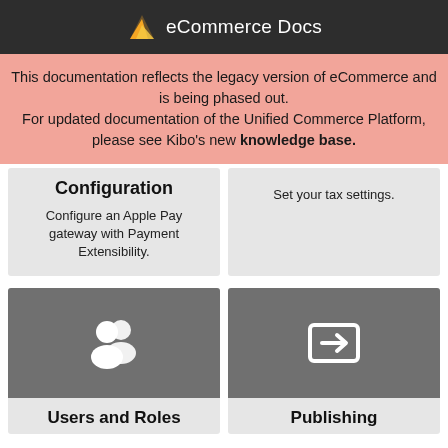eCommerce Docs
This documentation reflects the legacy version of eCommerce and is being phased out. For updated documentation of the Unified Commerce Platform, please see Kibo's new knowledge base.
Configuration
Configure an Apple Pay gateway with Payment Extensibility.
Set your tax settings.
[Figure (illustration): Users and Roles icon: two person silhouettes in white on grey background]
Users and Roles
[Figure (illustration): Publishing icon: rectangle with arrow pointing right (login/import icon) in white on grey background]
Publishing